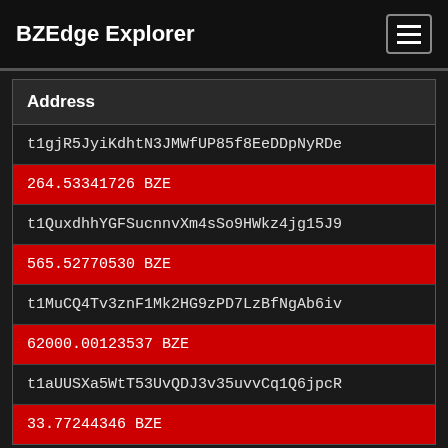BZEdge Explorer
| Address |
| --- |
| t1gjR5JyiKdhtN3JMWfUP85f8EeDDpNyRDe |
| 264.53341726 BZE |
| t1QuxdhhYGFSucnnvXm4sSo9HWkz4jg15J9 |
| 565.52770530 BZE |
| t1MuCQ4Tv3znF1Mk2HG9zPD7LzBfNgAb6iv |
| 62000.00123537 BZE |
| t1aUUSXa5WtT53UvQDJ3v35uvvCq1Q6jpcR |
| 33.77244346 BZE |
Recipients